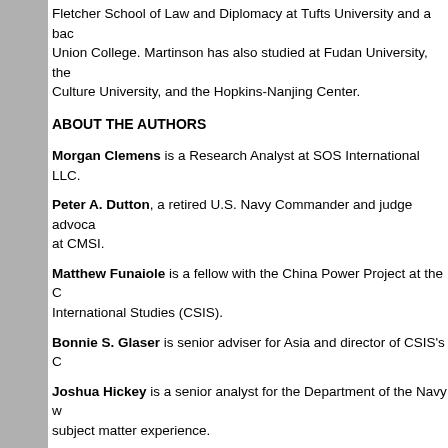Fletcher School of Law and Diplomacy at Tufts University and a bachelor's from Union College. Martinson has also studied at Fudan University, the Chinese Culture University, and the Hopkins-Nanjing Center.
ABOUT THE AUTHORS
Morgan Clemens is a Research Analyst at SOS International LLC.
Peter A. Dutton, a retired U.S. Navy Commander and judge advocate, is a researcher at CMSI.
Matthew Funaiole is a fellow with the China Power Project at the Center for Strategic and International Studies (CSIS).
Bonnie S. Glaser is senior adviser for Asia and director of CSIS's China Power Project.
Joshua Hickey is a senior analyst for the Department of the Navy with relevant subject matter experience.
Henry Holst is a junior analyst for the Department of the Navy.
Conor M. Kennedy is a research associate at CMSI.